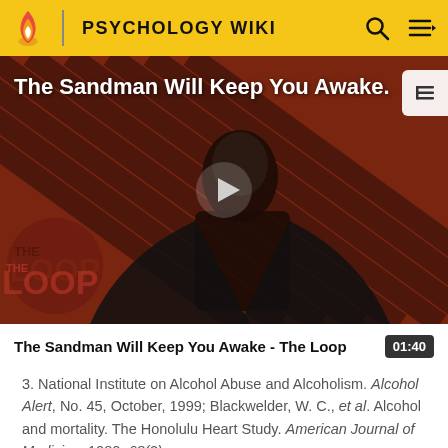PSYCHOLOGY WIKI
[Figure (screenshot): Video thumbnail for 'The Sandman Will Keep You Awake - The Loop' showing a dark figure in black against a red and black diagonal striped background with 'THE LOOP' watermark and a play button overlay]
The Sandman Will Keep You Awake - The Loop   01:40
3. National Institute on Alcohol Abuse and Alcoholism. Alcohol Alert, No. 45, October, 1999; Blackwelder, W. C., et al. Alcohol and mortality. The Honolulu Heart Study. American Journal of Medicine, 1980, 68(2),